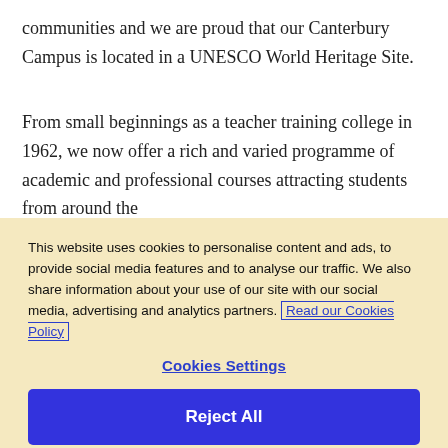communities and we are proud that our Canterbury Campus is located in a UNESCO World Heritage Site.
From small beginnings as a teacher training college in 1962, we now offer a rich and varied programme of academic and professional courses attracting students from around the
This website uses cookies to personalise content and ads, to provide social media features and to analyse our traffic. We also share information about your use of our site with our social media, advertising and analytics partners. Read our Cookies Policy
Cookies Settings
Reject All